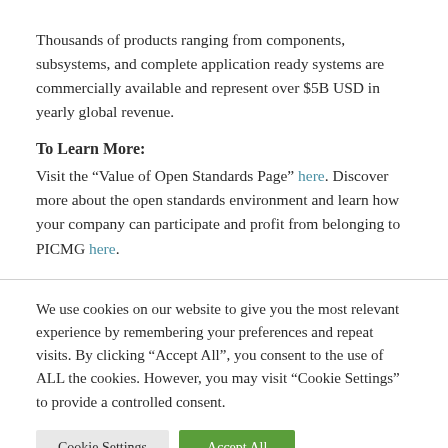Thousands of products ranging from components, subsystems, and complete application ready systems are commercially available and represent over $5B USD in yearly global revenue.
To Learn More:
Visit the “Value of Open Standards Page” here. Discover more about the open standards environment and learn how your company can participate and profit from belonging to PICMG here.
We use cookies on our website to give you the most relevant experience by remembering your preferences and repeat visits. By clicking “Accept All”, you consent to the use of ALL the cookies. However, you may visit “Cookie Settings” to provide a controlled consent.